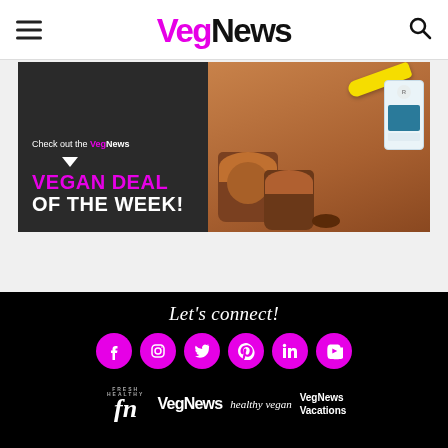VegNews header with hamburger menu and search icon
[Figure (illustration): VegNews Vegan Deal of the Week banner ad showing a chocolate smoothie/dessert with banana and milkadamia milk carton]
Let's connect!
[Figure (infographic): Social media icons row: Facebook, Instagram, Twitter, Pinterest, LinkedIn, YouTube - all in magenta/pink circles]
[Figure (logo): Footer logos: Fresh Healthy fn logo, VegNews logo, healthy vegan logo, VegNews Vacations logo]